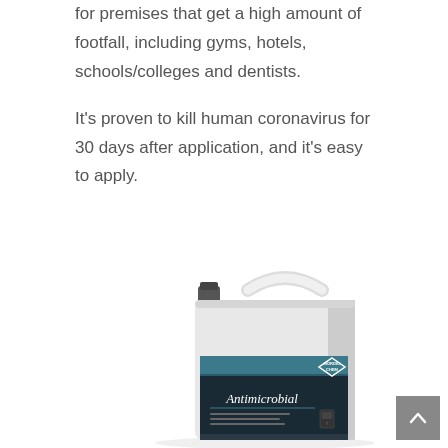for premises that get a high amount of footfall, including gyms, hotels, schools/colleges and dentists.
It's proven to kill human coronavirus for 30 days after application, and it's easy to apply.
[Figure (photo): A large white plastic canister/jerry can with a dark label reading 'Antimicrobial' and a Nordic Chem diamond logo on the label]